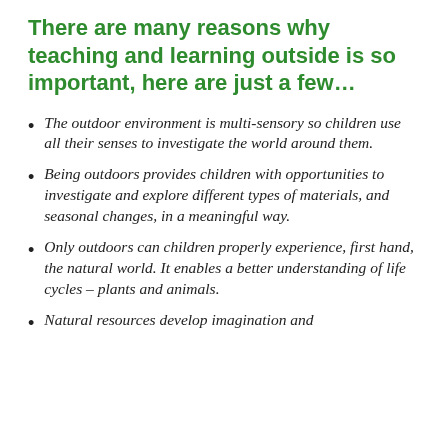There are many reasons why teaching and learning outside is so important, here are just a few…
The outdoor environment is multi-sensory so children use all their senses to investigate the world around them.
Being outdoors provides children with opportunities to investigate and explore different types of materials, and seasonal changes, in a meaningful way.
Only outdoors can children properly experience, first hand, the natural world. It enables a better understanding of life cycles – plants and animals.
Natural resources develop imagination and